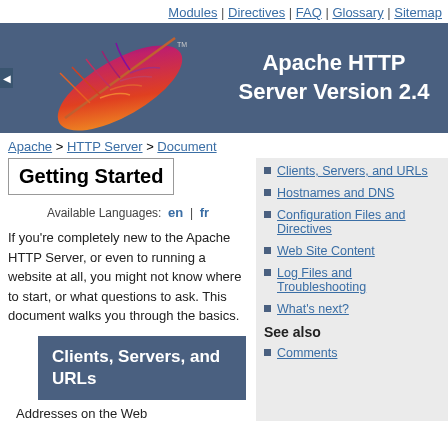Modules | Directives | FAQ | Glossary | Sitemap
[Figure (illustration): Apache HTTP Server Version 2.4 banner with feather logo on dark blue-gray background]
Apache > HTTP Server > Document
Getting Started
Available Languages: en | fr
If you're completely new to the Apache HTTP Server, or even to running a website at all, you might not know where to start, or what questions to ask. This document walks you through the basics.
Clients, Servers, and URLs
Hostnames and DNS
Configuration Files and Directives
Web Site Content
Log Files and Troubleshooting
What's next?
See also
Comments
Clients, Servers, and URLs
Addresses on the Web